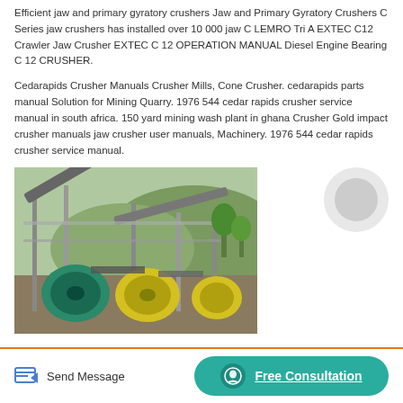Efficient jaw and primary gyratory crushers Jaw and Primary Gyratory Crushers C Series jaw crushers has installed over 10 000 jaw C LEMRO Tri A EXTEC C12 Crawler Jaw Crusher EXTEC C 12 OPERATION MANUAL Diesel Engine Bearing C 12 CRUSHER.
Cedarapids Crusher Manuals Crusher Mills, Cone Crusher. cedarapids parts manual Solution for Mining Quarry. 1976 544 cedar rapids crusher service manual in south africa. 150 yard mining wash plant in ghana Crusher Gold impact crusher manuals jaw crusher user manuals, Machinery. 1976 544 cedar rapids crusher service manual.
[Figure (photo): Industrial mining equipment / wash plant with conveyor belts, green and yellow cylindrical drums, metal framework, set outdoors with hills in background]
Send Message
Free Consultation